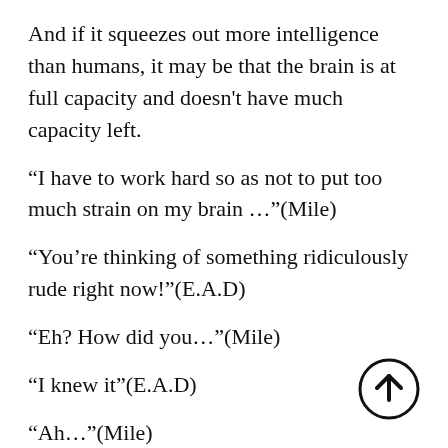And if it squeezes out more intelligence than humans, it may be that the brain is at full capacity and doesn’t have much capacity left.
“I have to work hard so as not to put too much strain on my brain …”(Mile)
“You’re thinking of something ridiculously rude right now!”(E.A.D)
“Eh? How did you…”(Mile)
“I knew it”(E.A.D)
“Ah…”(Mile)
And Mile’s group managed to calm the Elder and he… the girls various things that he could talk about among